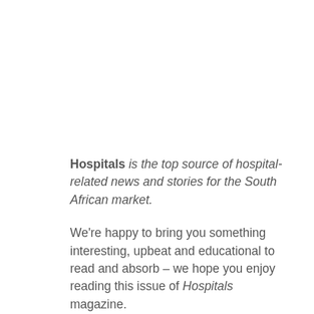Hospitals is the top source of hospital-related news and stories for the South African market.
We're happy to bring you something interesting, upbeat and educational to read and absorb – we hope you enjoy reading this issue of Hospitals magazine.
This edition covers a number of topics, from the SAFHE features to Management, Pulmonology and Infection Control. We cover items of import and interest to all medical professionals related